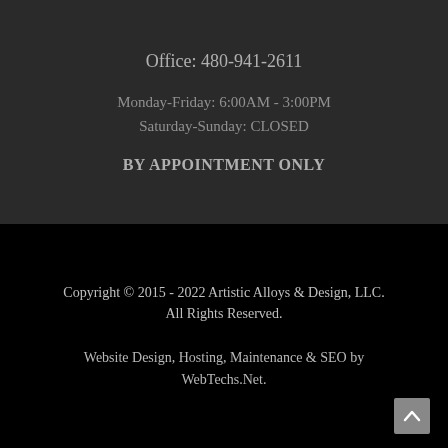Office: 480-941-2611
Monday-Friday: 6:00AM - 3:00PM
Saturday-Sunday: CLOSED
BY APPOINTMENT ONLY
Copyright © 2015 - 2022 Artistic Alloys & Design, LLC. All Rights Reserved.
Website Design, Hosting, Maintenance & SEO by WebTechs.Net.